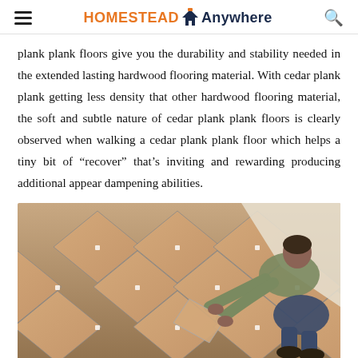HOMESTEAD Anywhere
plank plank floors give you the durability and stability needed in the extended lasting hardwood flooring material. With cedar plank plank getting less density that other hardwood flooring material, the soft and subtle nature of cedar plank plank floors is clearly observed when walking a cedar plank plank floor which helps a tiny bit of “recover” that’s inviting and rewarding producing additional appear dampening abilities.
[Figure (photo): A person installing ceramic floor tiles on a diagonal pattern with tile spacers visible between tiles. The worker is wearing a khaki/green long-sleeve shirt and is placing a tile into position on a white-adhesive surface.]